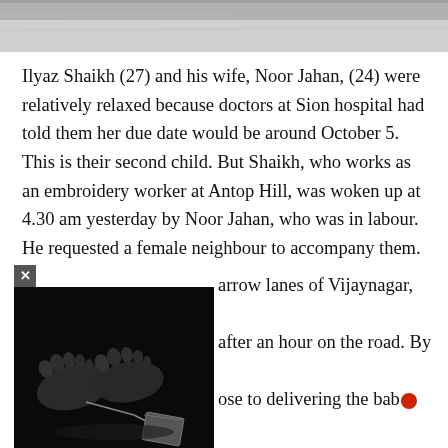[Figure (photo): Partial top of a photo (blurred fabric/clothing background), cropped at top of page]
Ilyaz Shaikh (27) and his wife, Noor Jahan, (24) were relatively relaxed because doctors at Sion hospital had told them her due date would be around October 5. This is their second child. But Shaikh, who works as an embroidery worker at Antop Hill, was woken up at 4.30 am yesterday by Noor Jahan, who was in labour. He requested a female neighbour to accompany them.
[Figure (photo): Black and white photo of bare human feet with a tag attached, on a dark background — morgue-style image. A small 'x' close button appears in upper left corner.]
arrow lanes of Vijaynagar, after an hour on the road. By ose to delivering the bab
nilar technologies, to enhance your browsing experience and provide personalised recommendations. By continuing to use our website, you agree to our Privacy Policy and Cookie Policy.
OK